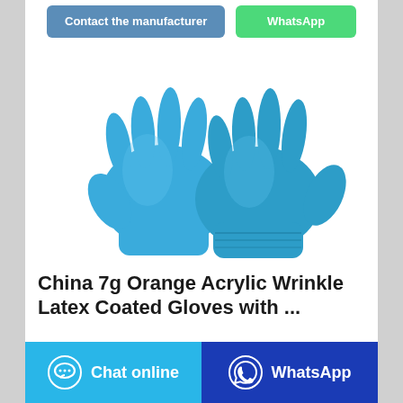[Figure (other): Two blue nitrile/latex gloves displayed on white background]
China 7g Orange Acrylic Wrinkle Latex Coated Gloves with ...
Latex Crinkle Glove, Latex Coated Glove, Cotton Glove manufacturer / supplier in China, offering 7g Orange
[Figure (screenshot): Bottom action bar with 'Chat online' (light blue) and 'WhatsApp' (dark blue) buttons]